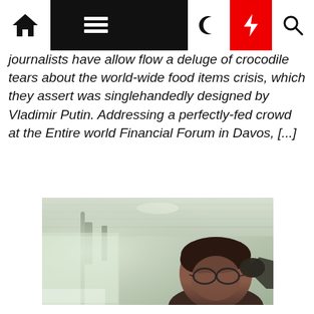[Navigation bar with home, menu, dark mode, lightning, search icons]
journalists have allow flow a deluge of crocodile tears about the world-wide food items crisis, which they assert was singlehandedly designed by Vladimir Putin. Addressing a perfectly-fed crowd at the Entire world Financial Forum in Davos, [...]
[Figure (photo): A man with glasses and dark hair photographed from below inside what appears to be a train or vehicle interior with metal ceiling fixtures visible]